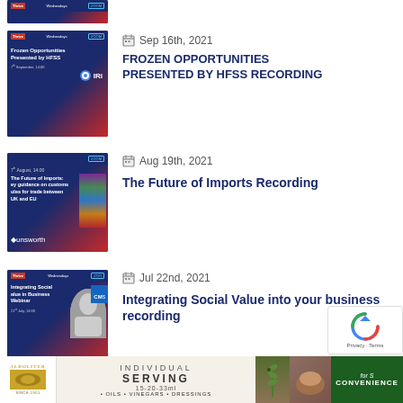[Figure (screenshot): Partially visible thumbnail of a webinar slide at top of page]
[Figure (screenshot): Thumbnail: Frozen Opportunities Presented by HFSS, Sep 16th 2021 webinar slide with IRI logo]
Sep 16th, 2021
FROZEN OPPORTUNITIES PRESENTED BY HFSS RECORDING
[Figure (screenshot): Thumbnail: The Future of Imports webinar slide with Unsworth logo, Aug 19th 2021]
Aug 19th, 2021
The Future of Imports Recording
[Figure (screenshot): Thumbnail: Integrating Social Value into your Business Webinar slide with CMS logo, Jul 22nd 2021]
Jul 22nd, 2021
Integrating Social Value into your business recording
[Figure (illustration): reCAPTCHA privacy badge]
[Figure (illustration): Advertisement banner: Aldoliver individual serving oils vinegars dressings for convenience]